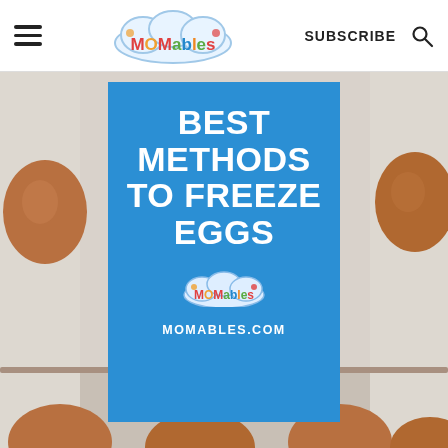MOMables — SUBSCRIBE
[Figure (photo): Background photo of brown eggs in an egg carton on a white textured surface, with a blue overlay card reading BEST METHODS TO FREEZE EGGS with MOMables logo and MOMABLES.COM text]
BEST METHODS TO FREEZE EGGS
MOMABLES.COM